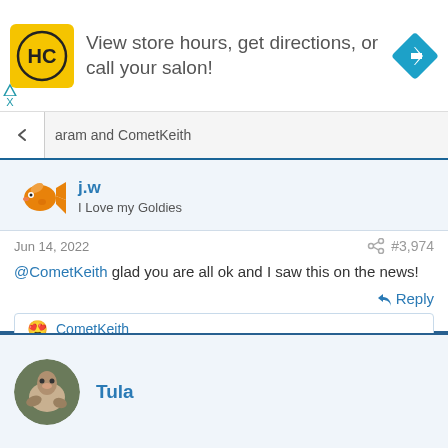[Figure (screenshot): Ad banner: HC logo, text 'View store hours, get directions, or call your salon!', navigation arrow diamond icon]
aram and CometKeith
j.w
I Love my Goldies
Jun 14, 2022   #3,974
@CometKeith glad you are all ok and I saw this on the news!
Reply
CometKeith
Tula